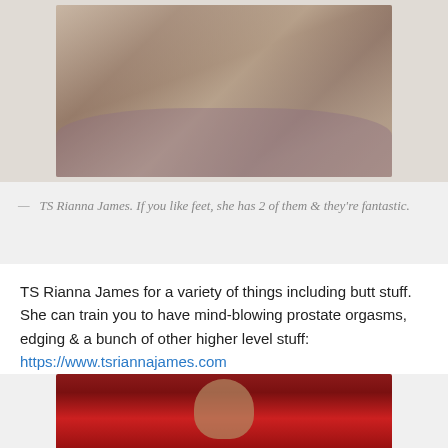[Figure (photo): Close-up photo of feet wearing white fishnet stockings on purple bedding]
— TS Rianna James. If you like feet, she has 2 of them & they're fantastic.
TS Rianna James for a variety of things including butt stuff. She can train you to have mind-blowing prostate orgasms, edging & a bunch of other higher level stuff: https://www.tsriannajames.com
[Figure (photo): Photo of a red-haired woman with tattoos against a red background]